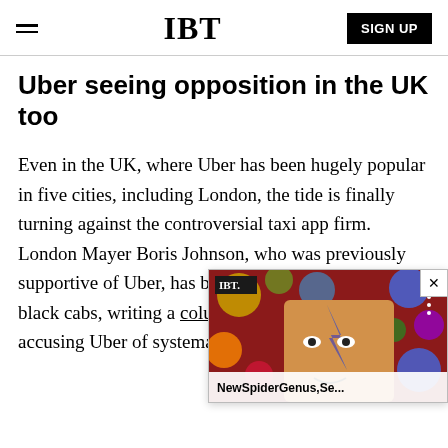IBT | SIGN UP
Uber seeing opposition in the UK too
Even in the UK, where Uber has been hugely popular in five cities, including London, the tide is finally turning against the controversial taxi app firm. London Mayer Boris Johnson, who was previously supportive of U[ber, has bowed] over criticism from black c[abs, writing a] column in the Telegraph ac[cusing Uber of] systematically breaking the[...]
[Figure (screenshot): IBT popup overlay showing article thumbnail with colorful bokeh/planet background and a face with face paint, with label 'NewSpiderGenus,Se...' and IBT logo, and a close button (X)]